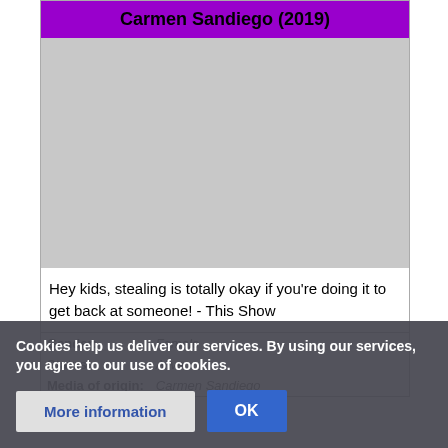Carmen Sandiego (2019)
[Figure (photo): Gray placeholder image for Carmen Sandiego character infobox]
Hey kids, stealing is totally okay if you're doing it to get back at someone! - This Show
| Field | Value |
| --- | --- |
| Gender: | Female |
| Status: | Alive |
| Media of origin: | Carmen Sandiego |
Cookies help us deliver our services. By using our services, you agree to our use of cookies.
More information | OK